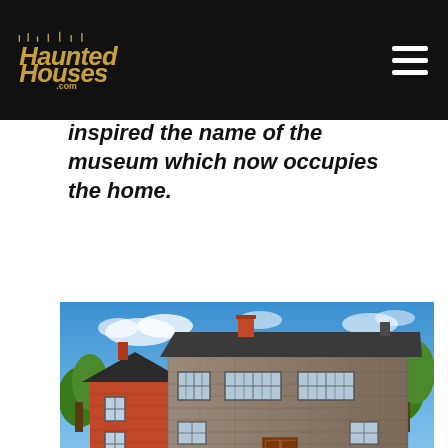HauntedHouses.com
inspired the name of the museum which now occupies the home.
[Figure (photo): Photograph of a historic two-story stone building with a red brick wing on the left, green trees in the background, and a bright blue sky. The stone building has multiple windows and a wooden door. Green grass surrounds the structure.]